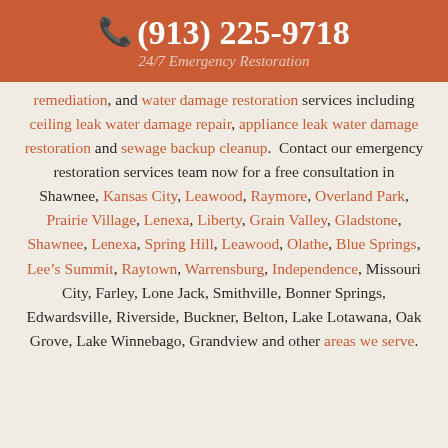(913) 225-9718 24/7 Emergency Restoration
remediation, and water damage restoration services including ceiling leak water damage repair, appliance leak water damage restoration and sewage backup cleanup.  Contact our emergency restoration services team now for a free consultation in Shawnee, Kansas City, Leawood, Raymore, Overland Park, Prairie Village, Lenexa, Liberty, Grain Valley, Gladstone, Shawnee, Lenexa, Spring Hill, Leawood, Olathe, Blue Springs, Lee’s Summit, Raytown, Warrensburg, Independence, Missouri City, Farley, Lone Jack, Smithville, Bonner Springs, Edwardsville, Riverside, Buckner, Belton, Lake Lotawana, Oak Grove, Lake Winnebago, Grandview and other areas we serve.